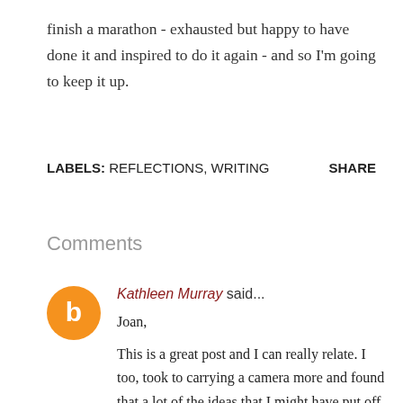finish a marathon - exhausted but happy to have done it and inspired to do it again - and so I'm going to keep it up.
LABELS: REFLECTIONS, WRITING    SHARE
Comments
Kathleen Murray said...
Joan,
This is a great post and I can really relate. I too, took to carrying a camera more and found that a lot of the ideas that I might have put off to write about later actually got done when I was forced to do a daily post. It is sort of addictive. I also need to take...